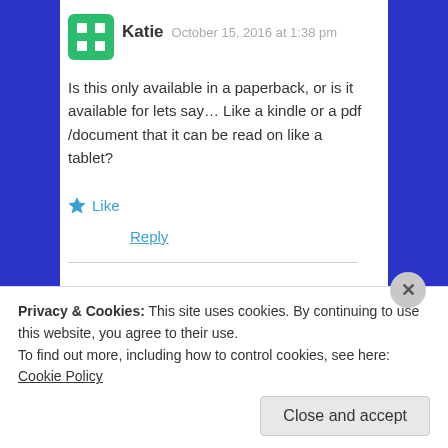[Figure (illustration): Green rounded square avatar icon with white dots pattern for user Katie]
Katie  October 15, 2016 at 1:38 pm
Is this only available in a paperback, or is it available for lets say… Like a kindle or a pdf /document that it can be read on like a tablet?
★ Like
Reply
[Figure (illustration): Dotted circle avatar for user monomaniac29]
monomaniac29  October 17, 2016 at 1:33 pm
Privacy & Cookies: This site uses cookies. By continuing to use this website, you agree to their use.
To find out more, including how to control cookies, see here: Cookie Policy
Close and accept